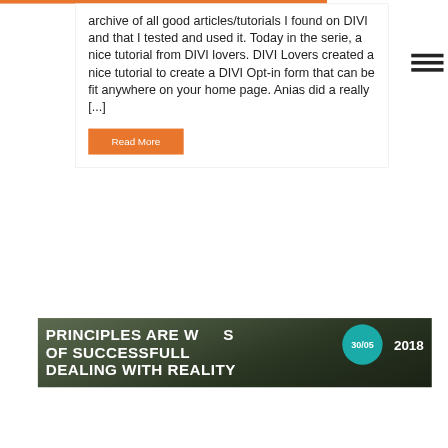archive of all good articles/tutorials I found on DIVI and that I tested and used it. Today in the serie, a nice tutorial from DIVI lovers. DIVI Lovers created a nice tutorial to create a DIVI Opt-in form that can be fit anywhere on your home page. Anias did a really [...]
Read More
PRINCIPLES ARE WAYS OF SUCCESSFULLY DEALING WITH REALITY
30/05 2018